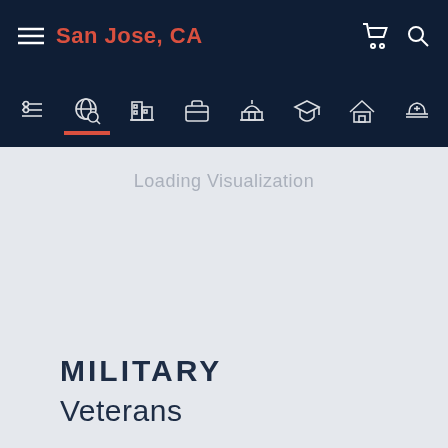San Jose, CA
[Figure (screenshot): Navigation icon bar with 8 icons: list/filter, search/globe, buildings, briefcase, government building, graduation cap, house, hard hat/medical]
Loading Visualization
MILITARY
Veterans